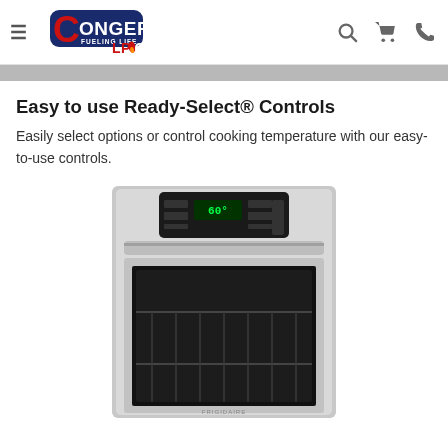Conger LP Gas — Fueling Life
Easy to use Ready-Select® Controls
Easily select options or control cooking temperature with our easy-to-use controls.
[Figure (photo): Frigidaire stainless steel wall oven with black glass door and digital control panel at top]